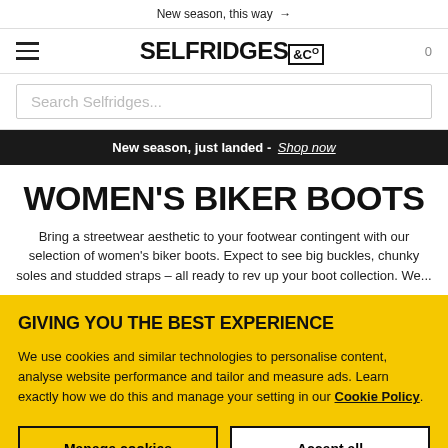New season, this way →
[Figure (logo): Selfridges & Co logo with hamburger menu icon on left and cart count 0 on right]
Search Selfridges...
New season, just landed - Shop now
WOMEN'S BIKER BOOTS
Bring a streetwear aesthetic to your footwear contingent with our selection of women's biker boots. Expect to see big buckles, chunky soles and studded straps – all ready to rev up your boot collection. We...
GIVING YOU THE BEST EXPERIENCE
We use cookies and similar technologies to personalise content, analyse website performance and tailor and measure ads. Learn exactly how we do this and manage your setting in our Cookie Policy.
Manage cookies
Accept all